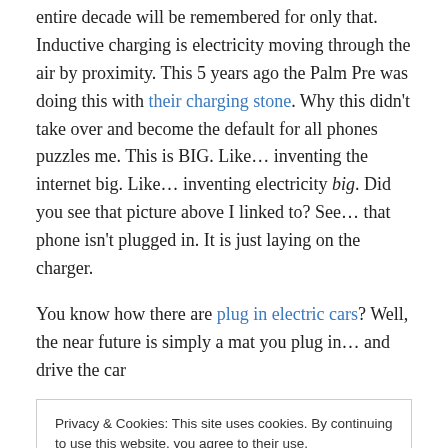entire decade will be remembered for only that. Inductive charging is electricity moving through the air by proximity. This 5 years ago the Palm Pre was doing this with their charging stone. Why this didn't take over and become the default for all phones puzzles me. This is BIG. Like… inventing the internet big. Like… inventing electricity big. Did you see that picture above I linked to? See… that phone isn't plugged in. It is just laying on the charger.
You know how there are plug in electric cars? Well, the near future is simply a mat you plug in… and drive the car
Privacy & Cookies: This site uses cookies. By continuing to use this website, you agree to their use.
To find out more, including how to control cookies, see here: Cookie Policy
your phone and tablet and laptop on said pad… and they